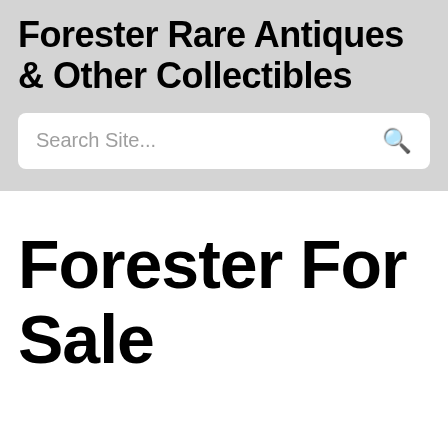Forester Rare Antiques & Other Collectibles
Search Site...
Forester For Sale